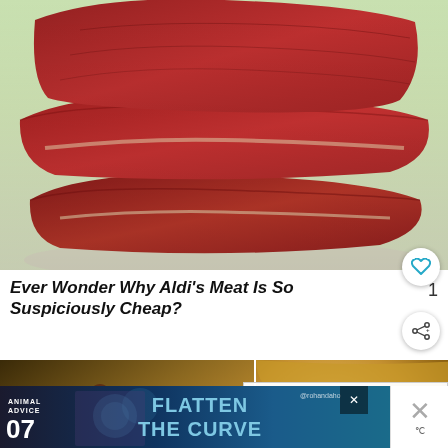[Figure (photo): Close-up photo of stacked raw red meat slices against a light background]
Ever Wonder Why Aldi's Meat Is So Suspiciously Cheap?
[Figure (photo): Two thumbnail images side by side: left shows pasta with meat sauce, right shows golden baked bread/cornbread]
[Figure (infographic): WHAT'S NEXT callout with thumbnail of a restaurant and text: Monday Munchies:...]
[Figure (infographic): Advertisement banner: Animal Advice 07 - FLATTEN THE CURVE with decorative graphics and @rohandaho handle]